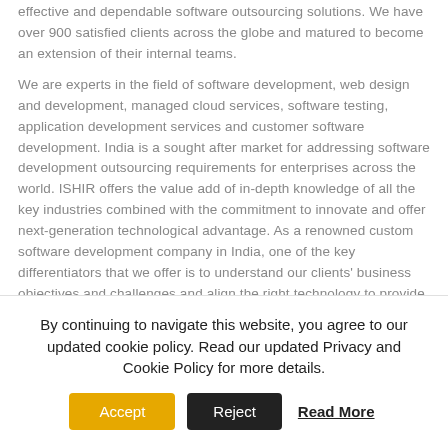effective and dependable software outsourcing solutions. We have over 900 satisfied clients across the globe and matured to become an extension of their internal teams.
We are experts in the field of software development, web design and development, managed cloud services, software testing, application development services and customer software development. India is a sought after market for addressing software development outsourcing requirements for enterprises across the world. ISHIR offers the value add of in-depth knowledge of all the key industries combined with the commitment to innovate and offer next-generation technological advantage. As a renowned custom software development company in India, one of the key differentiators that we offer is to understand our clients' business objectives and challenges and align the right technology to provide customized solutions.
Headquartered in Dallas, with global delivery center in Noida, India, we are one of the preferred software development companies with a unique combination of skilled people, world-class processes and robust technology. ISHIR has a successful track record of delivering hundreds of projects using
By continuing to navigate this website, you agree to our updated cookie policy. Read our updated Privacy and Cookie Policy for more details.